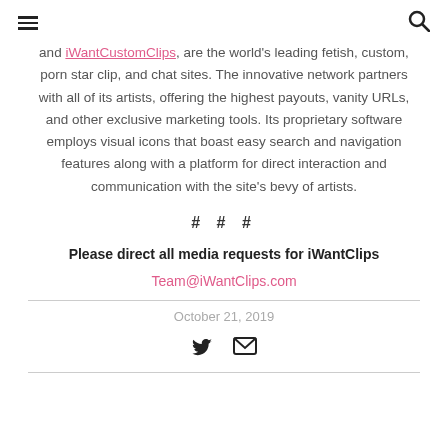≡  🔍
and iWantCustomClips, are the world's leading fetish, custom, porn star clip, and chat sites. The innovative network partners with all of its artists, offering the highest payouts, vanity URLs, and other exclusive marketing tools. Its proprietary software employs visual icons that boast easy search and navigation features along with a platform for direct interaction and communication with the site's bevy of artists.
# # #
Please direct all media requests for iWantClips
Team@iWantClips.com
October 21, 2019